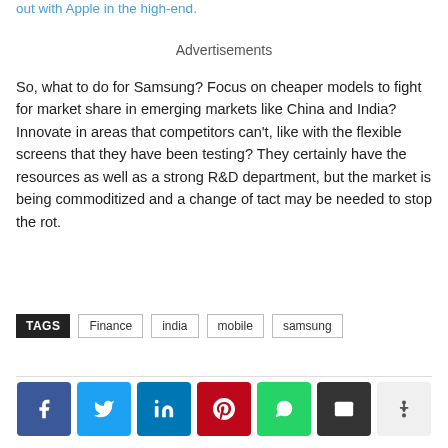out with Apple in the high-end.
Advertisements
So, what to do for Samsung? Focus on cheaper models to fight for market share in emerging markets like China and India? Innovate in areas that competitors can't, like with the flexible screens that they have been testing? They certainly have the resources as well as a strong R&D department, but the market is being commoditized and a change of tact may be needed to stop the rot.
TAGS  Finance  india  mobile  samsung